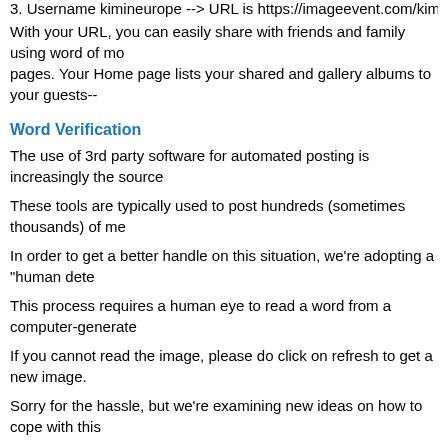3. Username  kimineurope  --> URL is https://imageevent.com/kimineurо
With your URL, you can easily share with friends and family using word of mo pages. Your Home page lists your shared and gallery albums to your guests--
Word Verification
The use of 3rd party software for automated posting is increasingly the source
These tools are typically used to post hundreds (sometimes thousands) of me
In order to get a better handle on this situation, we're adopting a "human dete
This process requires a human eye to read a word from a computer-generate
If you cannot read the image, please do click on refresh to get a new image.
Sorry for the hassle, but we're examining new ideas on how to cope with this
Logging into the website
ImageEvent requires you log in to ImageEvent with your password, you ensur ensure you that your albums are secure and protected from anyone who may you close all browsers or click on Log out. We also automatically log you out a
Your registration information